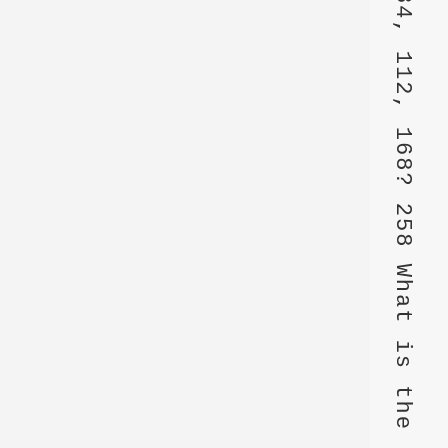84, 112, 168? 258 What is the n